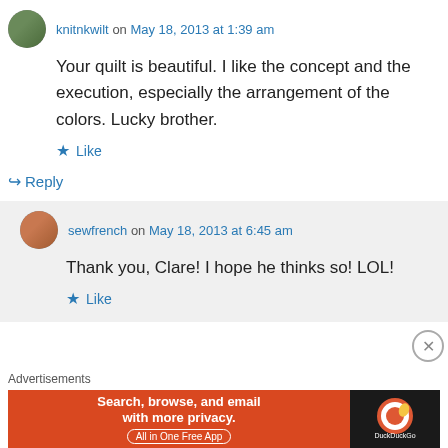knitnkwilt on May 18, 2013 at 1:39 am
Your quilt is beautiful. I like the concept and the execution, especially the arrangement of the colors. Lucky brother.
Like
Reply
sewfrench on May 18, 2013 at 6:45 am
Thank you, Clare! I hope he thinks so! LOL!
Like
Advertisements
[Figure (other): DuckDuckGo advertisement banner: orange left side with text 'Search, browse, and email with more privacy. All in One Free App' and dark right side with DuckDuckGo logo]